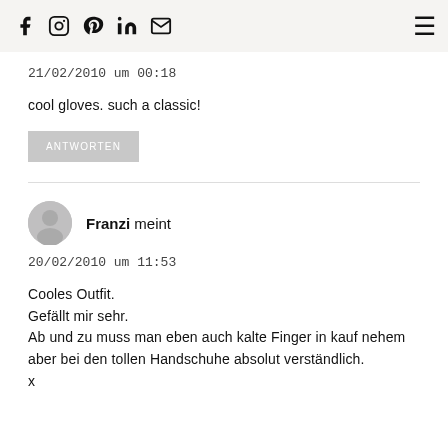Social icons: f, instagram, pinterest, linkedin, email | hamburger menu
21/02/2010 um 00:18
cool gloves. such a classic!
ANTWORTEN
Franzi meint
20/02/2010 um 11:53
Cooles Outfit.
Gefällt mir sehr.
Ab und zu muss man eben auch kalte Finger in kauf nehem aber bei den tollen Handschuhe absolut verständlich.
x